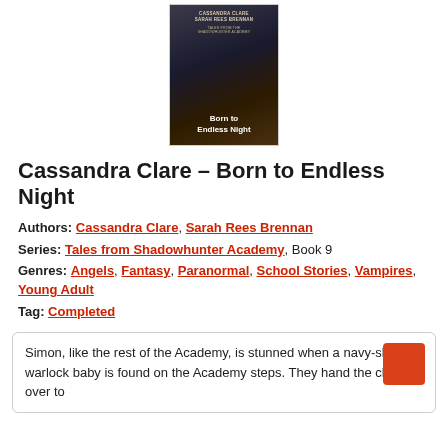[Figure (illustration): Book cover of 'Born to Endless Night' by Cassandra Clare and Sarah Rees Brennan. Dark cover with feathers/wings, authors' names at top, title in white text in center.]
Cassandra Clare – Born to Endless Night
Authors: Cassandra Clare, Sarah Rees Brennan
Series: Tales from Shadowhunter Academy, Book 9
Genres: Angels, Fantasy, Paranormal, School Stories, Vampires, Young Adult
Tag: Completed
Simon, like the rest of the Academy, is stunned when a navy-skinned warlock baby is found on the Academy steps. They hand the child over to